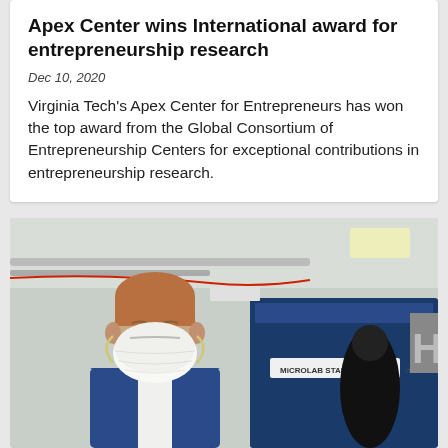Apex Center wins International award for entrepreneurship research
Dec 10, 2020
Virginia Tech's Apex Center for Entrepreneurs has won the top award from the Global Consortium of Entrepreneurship Centers for exceptional contributions in entrepreneurship research.
[Figure (photo): Man wearing a white N95 respirator mask and blue suit jacket standing in a laboratory environment in front of a MICROLAB STAR machine]